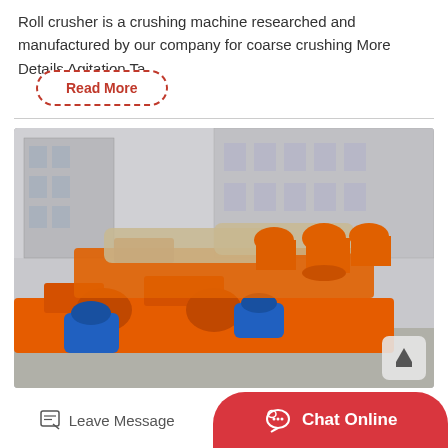Roll crusher is a crushing machine researched and manufactured by our company for coarse crushing More Details Agitation Ta…
Read More
[Figure (photo): Outdoor industrial yard showing multiple orange roll crusher machines with blue electric motors, partially covered with tarps, with factory buildings in the background.]
Leave Message   Chat Online